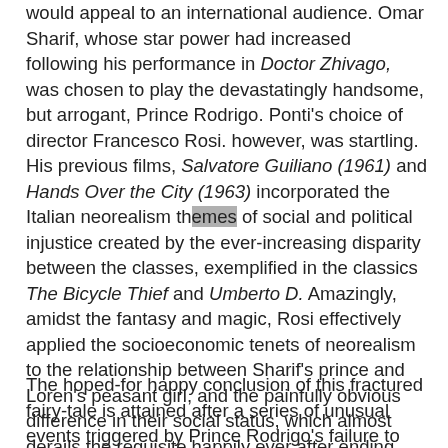would appeal to an international audience. Omar Sharif, whose star power had increased following his performance in Doctor Zhivago, was chosen to play the devastatingly handsome, but arrogant, Prince Rodrigo. Ponti's choice of director Francesco Rosi. however, was startling. His previous films, Salvatore Guiliano (1961) and Hands Over the City (1963) incorporated the Italian neorealism themes of social and political injustice created by the ever-increasing disparity between the classes, exemplified in the classics The Bicycle Thief and Umberto D. Amazingly, amidst the fantasy and magic, Rosi effectively applied the socioeconomic tenets of neorealism to the relationship between Sharif's prince and Loren's peasant girl, and the painfully obvious difference in their social status, which almost derails the requisite happily ever after ending.
The hoped-for happy conclusion of this fractured fairy-tale is attained after a series of unusual events triggered by Prince Rodrigo's failure to obey an order from the King of Spain to find a wife. He escapes from the meddling of his marriage minded mother, riding his magnificent white horse at breakneck speed, resulting in a tumble out of the saddle. He